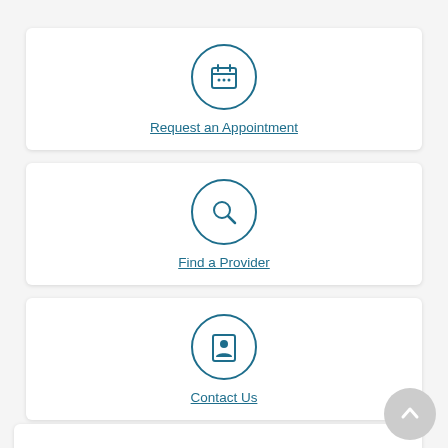[Figure (infographic): Calendar icon inside a circle with teal border]
Request an Appointment
[Figure (infographic): Magnifying glass search icon inside a circle with teal border]
Find a Provider
[Figure (infographic): Person/contact card icon inside a circle with teal border]
Contact Us
[Figure (infographic): Back to top arrow button - circular grey button in bottom right corner]